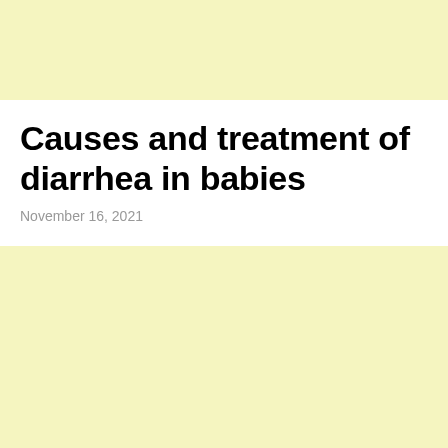Causes and treatment of diarrhea in babies
November 16, 2021